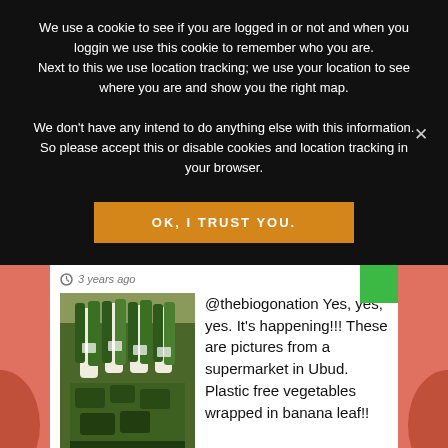We use a cookie to see if you are logged in or not and when you loggin we use this cookie to remember who you are. Next to this we use location tracking; we use your location to see where you are and show you the right map.
We don't have any intend to do anything else with this information. So please accept this or disable cookies and location tracking in your browser.
[Figure (screenshot): Orange button with text OK, I TRUST YOU.]
3 years ago
[Figure (photo): Photo of vegetables wrapped in banana leaves in a supermarket basket]
@thebiogonation Yes, yes, yes. It's happening!!! These are pictures from a supermarket in Ubud. Plastic free vegetables wrapped in banana leaf!!